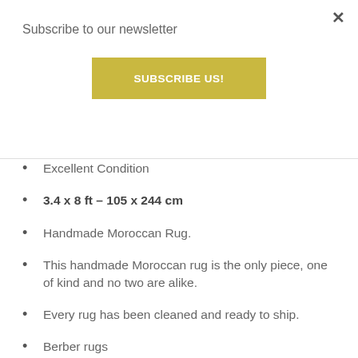Subscribe to our newsletter
SUBSCRIBE US!
×
Excellent Condition
3.4 x 8 ft – 105 x 244 cm
Handmade Moroccan Rug.
This handmade Moroccan rug is the only piece, one of kind and no two are alike.
Every rug has been cleaned and ready to ship.
Berber rugs
SHIPPING
Shipping By FedEx International Priority